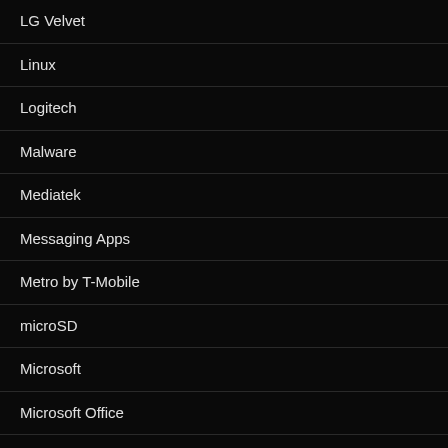LG Velvet
Linux
Logitech
Malware
Mediatek
Messaging Apps
Metro by T-Mobile
microSD
Microsoft
Microsoft Office
Microsoft Surface
Microsoft Surface Duo
Microsoft Windows